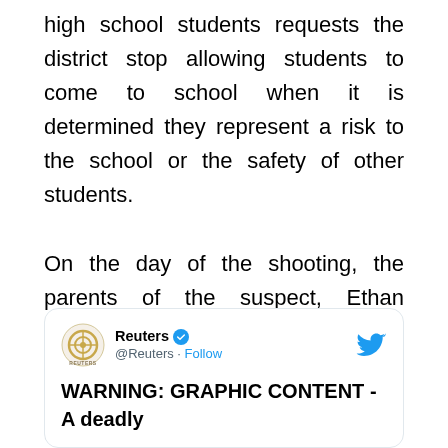high school students requests the district stop allowing students to come to school when it is determined they represent a risk to the school or the safety of other students.

On the day of the shooting, the parents of the suspect, Ethan Crumbley, were called to the school because of their son's troubling behavior; nevertheless, the parents declined to take their son home.
[Figure (screenshot): Embedded tweet from Reuters (@Reuters) with verified badge and Twitter bird logo. Tweet begins: WARNING: GRAPHIC CONTENT - A deadly]